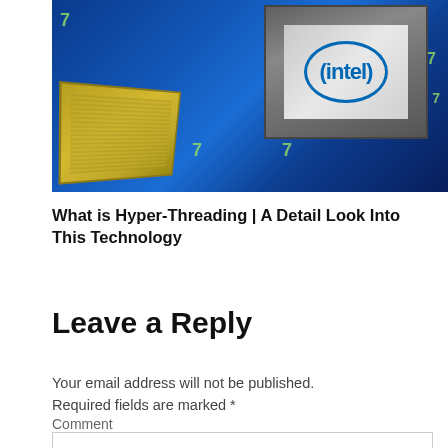[Figure (photo): Close-up photo of Intel CPU processors on a blue circuit board background with the Intel logo visible on the top chip. Yellow/gold chip contacts visible on the lower-left chip. Numbers '7' visible on the blue background.]
What is Hyper-Threading | A Detail Look Into This Technology
Leave a Reply
Your email address will not be published. Required fields are marked *
Comment